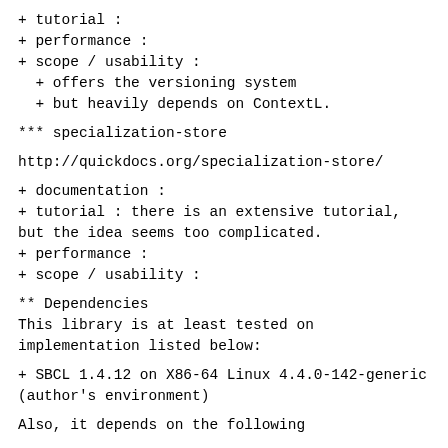+ tutorial :
+ performance :
+ scope / usability :
  + offers the versioning system
  + but heavily depends on ContextL.
*** specialization-store
http://quickdocs.org/specialization-store/
+ documentation :
+ tutorial : there is an extensive tutorial, but the idea seems too complicated.
+ performance :
+ scope / usability :
** Dependencies
This library is at least tested on implementation listed below:
+ SBCL 1.4.12 on X86-64 Linux 4.4.0-142-generic (author's environment)
Also, it depends on the following